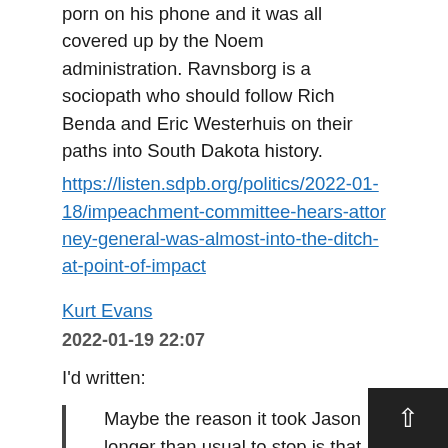porn on his phone and it was all covered up by the Noem administration. Ravnsborg is a sociopath who should follow Rich Benda and Eric Westerhuis on their paths into South Dakota history.
https://listen.sdpb.org/politics/2022-01-18/impeachment-committee-hears-attorney-general-was-almost-into-the-ditch-at-point-of-impact
Kurt Evans
2022-01-19 22:07
I'd written:
Maybe the reason it took Jason longer than usual to stop is that he was shocked and scared after something seemed to come out of nowhere and shatter his windshield. Maybe he consciously or subconsciously wanted to put some distance between himself and whatever he'd hit.
Using Berndt's own numbers, it took less than five seconds